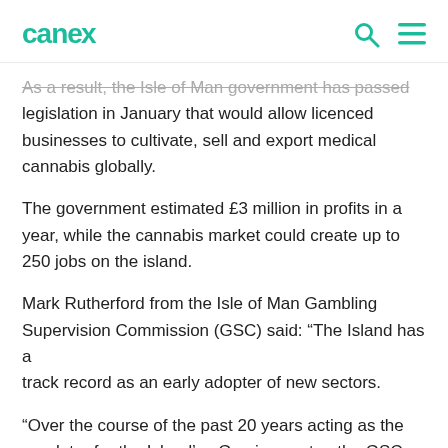canex
As a result, the Isle of Man government has passed legislation in January that would allow licenced businesses to cultivate, sell and export medical cannabis globally.
The government estimated £3 million in profits in a year, while the cannabis market could create up to 250 jobs on the island.
Mark Rutherford from the Isle of Man Gambling Supervision Commission (GSC) said: “The Island has a track record as an early adopter of new sectors.
“Over the course of the past 20 years acting as the regulator for the Island’s eGaming sector, the GSC has developed expertise in keeping the industry